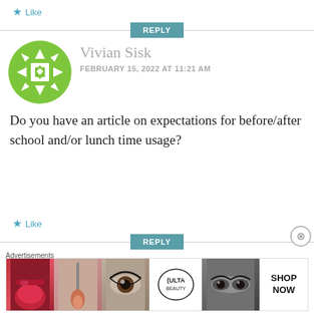★ Like
REPLY
[Figure (logo): Green circular avatar icon with geometric white snowflake/cross pattern - WordPress default avatar]
Vivian Sisk
FEBRUARY 15, 2022 AT 11:21 AM
Do you have an article on expectations for before/after school and/or lunch time usage?
★ Like
REPLY
Advertisements
[Figure (photo): Advertisement banner showing beauty/makeup images including lips with lipstick, makeup brush, eye with mascara, ULTA Beauty logo, eyes with makeup, and SHOP NOW button]